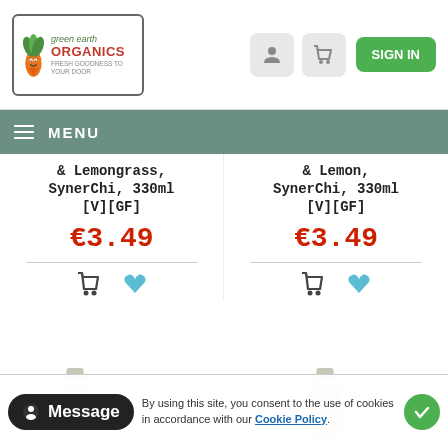[Figure (logo): Green Earth Organics logo with carrot character]
[Figure (illustration): User account icon button]
[Figure (illustration): Shopping cart icon button]
SIGN IN
MENU
& Lemongrass, SynerChi, 330ml [V][GF]
€3.49
& Lemon, SynerChi, 330ml [V][GF]
€3.49
[Figure (photo): SynerChi Kombucha bottle - lemongrass flavour, light coloured drink]
[Figure (photo): SynerChi Kombucha bottle - red/berry flavour, pink/red coloured drink]
By using this site, you consent to the use of cookies in accordance with our Cookie Policy.